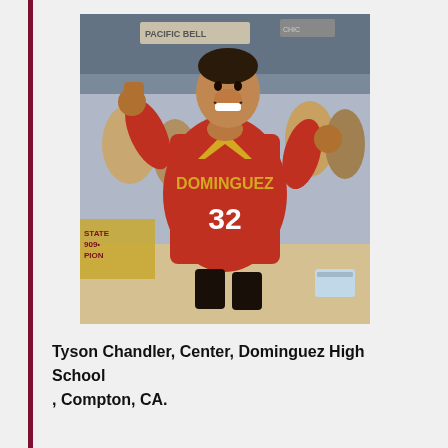[Figure (photo): A young Tyson Chandler celebrating in a red Dominguez #32 basketball jersey at what appears to be a state championship arena.]
Tyson Chandler, Center, Dominguez High School , Compton, CA.